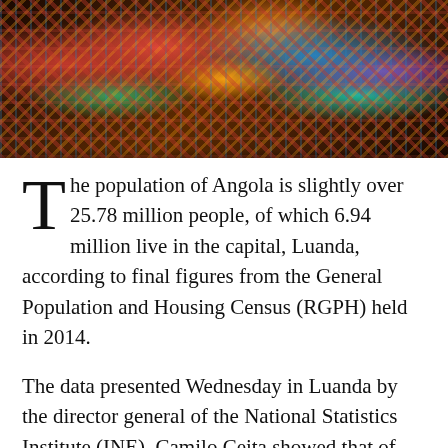[Figure (photo): Photo of people wearing colorful patterned clothing (African fabric/chitenge prints in red, yellow, blue, black and white), appearing to be census workers or officials at an outdoor event.]
The population of Angola is slightly over 25.78 million people, of which 6.94 million live in the capital, Luanda, according to final figures from the General Population and Housing Census (RGPH) held in 2014.
The data presented Wednesday in Luanda by the director general of the National Statistics Institute (INE), Camilo Ceita showed that of that total population 13,28 million, or 51.5 percent are female.